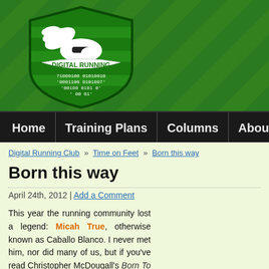[Figure (logo): Digital Running logo — winged running shoe on green shield with binary code text and banner reading DIGITAL RUNNING]
Home | Training Plans | Columns | About
Digital Running Club » Time on Feet » Born this way
Born this way
April 24th, 2012 | Add a Comment
This year the running community lost a legend: Micah True, otherwise known as Caballo Blanco. I never met him, nor did many of us, but if you've read Christopher McDougall's Born To Run then you know who he is. If you haven't read it, pick up a copy. It's Better than great.
[Figure (photo): Mountain landscape with green trees in foreground and blue mountains in background]